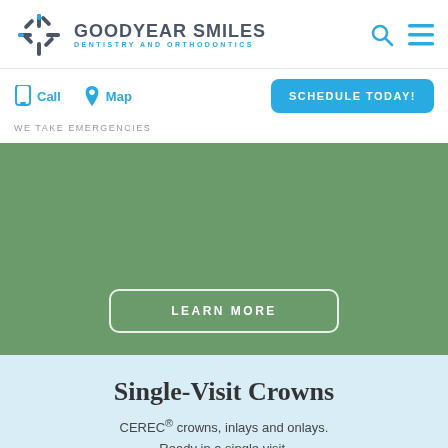GOODYEAR SMILES DENTISTRY AND ORTHODONTICS
Call  Map
SCHEDULE TODAY!
WE TAKE EMERGENCIES
[Figure (screenshot): Green hero banner section with a 'LEARN MORE' button]
Single-Visit Crowns
CEREC® crowns, inlays and onlays. Ready in a single visit.